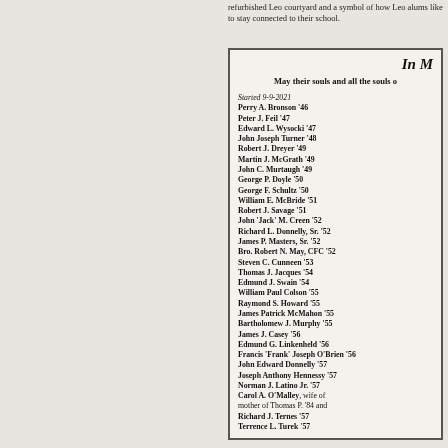refurbished Leo courtyard and a symbol of how Leo alums like to stay connected to their school.
In Memory
May their souls and all the souls of the faithful departed rest in peace.
Started 9-9-2021
Perry A. Bronson '46
Peter J. Feil '47
Edward L. Wysocki '47
John Joseph Turner '48
Robert J. Dreyer '49
Martin J. McGrath '49
John C. Murtaugh '49
George P. Doyle '50
George F. Schultz '50
William E. McBride '51
Robert J. Savage '51
John 'Jack' M. Creen '52
Richard L. Donnelly, Sr. '52
James P. Masters, Sr. '52
Bro. Robert N. May, CFC '52
Steven C. Cunneen '53
Thomas J. Jacques '54
Edmund J. Swain '54
William Paul Colson '55
Raymond S. Howard '55
James Patrick McMahon '55
Bartholomew J. Murphy '55
James J. Casey '56
Edmund G. Linkenheld '56
Francis 'Frank' Joseph O'Brien '56
John Edward Donnelly '57
Joseph Anthony Hennessy '57
Norman J. Latino Jr. '57
Carol A. O'Malley, wife of [name], mother of Thomas P. '84 and [name]
Richard J. Ternes '57
Terrence L. Turek '57